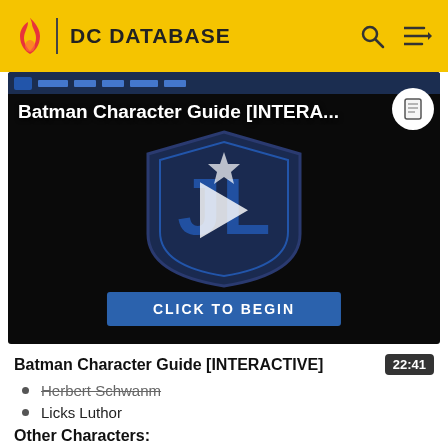DC DATABASE
[Figure (screenshot): Video player screenshot showing Batman Character Guide [INTERA...] with Justice League shield logo, play button overlay, and CLICK TO BEGIN button. Duration shown as 22:41.]
Batman Character Guide [INTERACTIVE]
22:41
Herbert Schwanm
Licks Luthor
Other Characters: